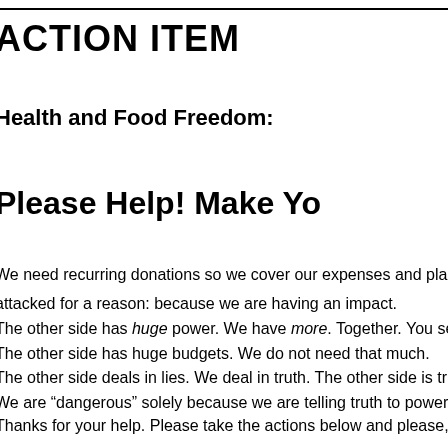ACTION ITEM
Health and Food Freedom:
http://drrimatru...
Please Help! Make Yo...
http://drrima...
We need recurring donations so we cover our expenses and plan ahead. W... attacked for a reason: because we are having an impact.
The other side has huge power. We have more. Together. You see, we have...
The other side has huge budgets. We do not need that much.
The other side deals in lies. We deal in truth. The other side is truly dangero...
We are “dangerous” solely because we are telling truth to power.
Thanks for your help. Please take the actions below and please, please ma...
http://drrima...
What can you d...
Here are those Action Items so y...
Send Congres...